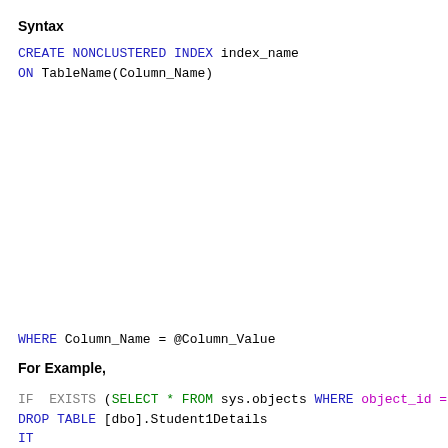Syntax
CREATE NONCLUSTERED INDEX index_name
ON TableName(Column_Name)
WHERE Column_Name = @Column_Value
For Example,
IF  EXISTS (SELECT * FROM sys.objects WHERE object_id = OBJECT_ID(N'[
DROP TABLE [dbo].Student1Details
IT